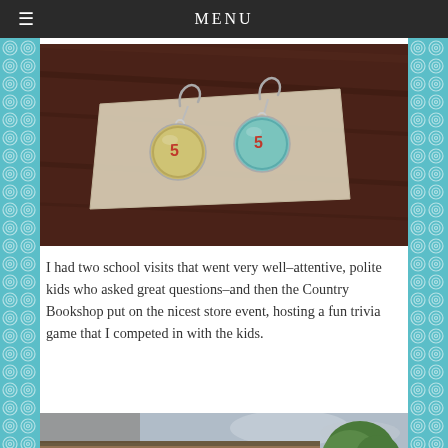MENU
[Figure (photo): Close-up photo of a pair of round glass dome earrings with map/stamp imagery inside, displayed on a card against a dark wood surface.]
I had two school visits that went very well–attentive, polite kids who asked great questions–and then the Country Bookshop put on the nicest store event, hosting a fun trivia game that I competed in with the kids.
[Figure (photo): Exterior photo of the Country Bookshop storefront at dusk, with warm interior lights glowing through windows and trees visible against a cloudy sky.]